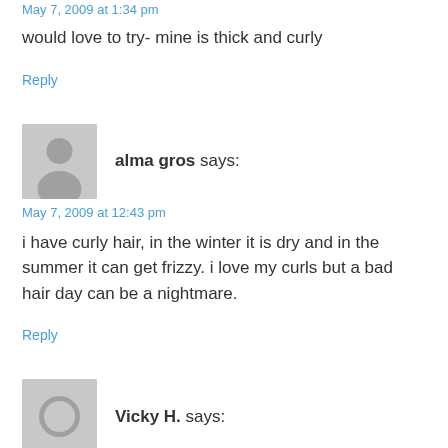May 7, 2009 at 1:34 pm
would love to try- mine is thick and curly
Reply
[Figure (illustration): Generic user avatar placeholder - grey silhouette of a person on grey background]
alma gros says:
May 7, 2009 at 12:43 pm
i have curly hair, in the winter it is dry and in the summer it can get frizzy. i love my curls but a bad hair day can be a nightmare.
Reply
[Figure (illustration): Generic user avatar placeholder - grey circle outline on grey background]
Vicky H. says: